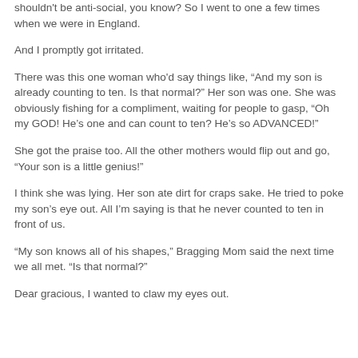shouldn't be anti-social, you know? So I went to one a few times when we were in England.
And I promptly got irritated.
There was this one woman who'd say things like, “And my son is already counting to ten. Is that normal?” Her son was one. She was obviously fishing for a compliment, waiting for people to gasp, “Oh my GOD! He’s one and can count to ten? He’s so ADVANCED!”
She got the praise too. All the other mothers would flip out and go, “Your son is a little genius!”
I think she was lying. Her son ate dirt for craps sake. He tried to poke my son’s eye out. All I’m saying is that he never counted to ten in front of us.
“My son knows all of his shapes,” Bragging Mom said the next time we all met. “Is that normal?”
Dear gracious, I wanted to claw my eyes out.